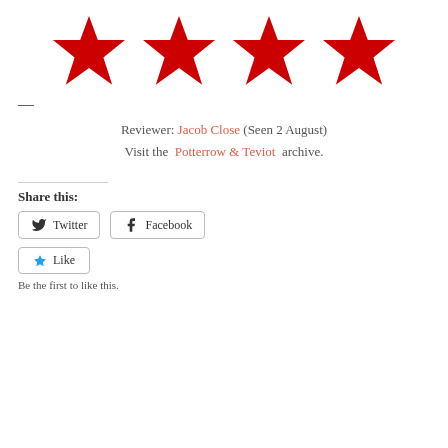[Figure (illustration): Four red five-pointed stars in a row, representing a 4-star rating]
—
Reviewer: Jacob Close (Seen 2 August)
Visit the Potterrow & Teviot archive.
Share this:
Twitter
Facebook
Like
Be the first to like this.